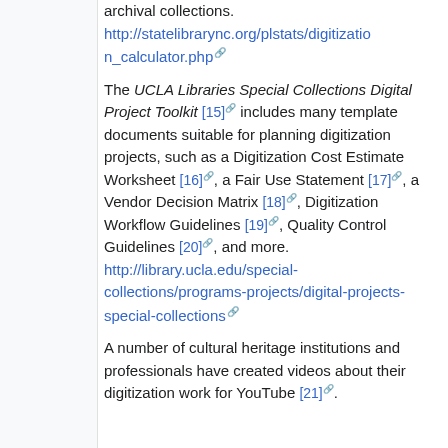archival collections. http://statelibrarync.org/plstats/digitization_calculator.php
The UCLA Libraries Special Collections Digital Project Toolkit [15] includes many template documents suitable for planning digitization projects, such as a Digitization Cost Estimate Worksheet [16], a Fair Use Statement [17], a Vendor Decision Matrix [18], Digitization Workflow Guidelines [19], Quality Control Guidelines [20], and more. http://library.ucla.edu/special-collections/programs-projects/digital-projects-special-collections
A number of cultural heritage institutions and professionals have created videos about their digitization work for YouTube [21].